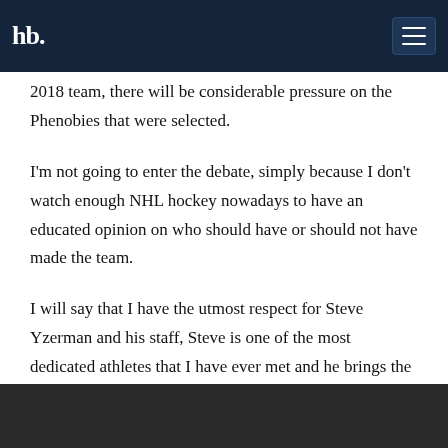hb [logo] [hamburger menu]
2018 team, there will be considerable pressure on the Phenobies that were selected.
I'm not going to enter the debate, simply because I don't watch enough NHL hockey nowadays to have an educated opinion on who should have or should not have made the team.
I will say that I have the utmost respect for Steve Yzerman and his staff, Steve is one of the most dedicated athletes that I have ever met and he brings the same dedication and intensity to his job as GM of the Tampa Lightning and in this case Director of Team Canada. If Canada doesn't medal it will not be his fault.